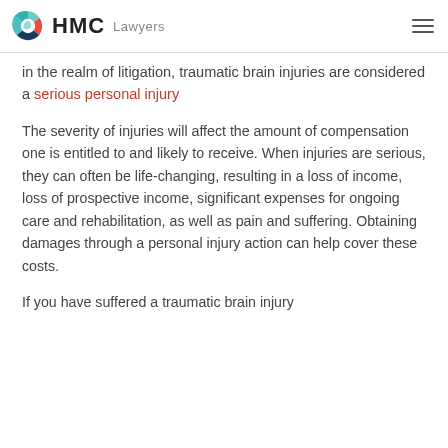HMC Lawyers
in the realm of litigation, traumatic brain injuries are considered a serious personal injury
The severity of injuries will affect the amount of compensation one is entitled to and likely to receive. When injuries are serious, they can often be life-changing, resulting in a loss of income, loss of prospective income, significant expenses for ongoing care and rehabilitation, as well as pain and suffering. Obtaining damages through a personal injury action can help cover these costs.
If you have suffered a traumatic brain injury